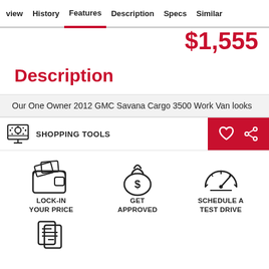view   History   Features   Description   Specs   Similar
$1,555
Description
Our One Owner 2012 GMC Savana Cargo 3500 Work Van looks
[Figure (screenshot): Shopping Tools bar with gear/screen icon on left, heart and share icons on red background on right]
[Figure (infographic): Three shopping tool icons: wallet (LOCK-IN YOUR PRICE), money bag with dollar sign (GET APPROVED), speedometer (SCHEDULE A TEST DRIVE)]
[Figure (infographic): Partial icon at bottom: phone/document icon]